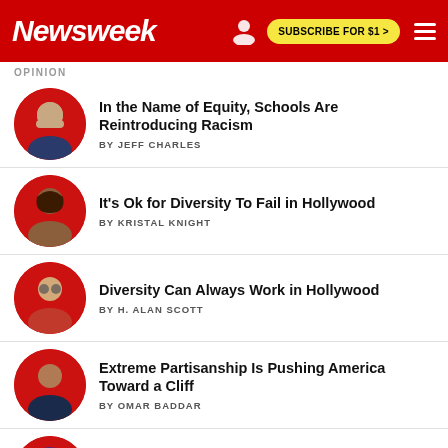Newsweek — SUBSCRIBE FOR $1 >
OPINION
In the Name of Equity, Schools Are Reintroducing Racism — BY JEFF CHARLES
It's Ok for Diversity To Fail in Hollywood — BY KRISTAL KNIGHT
Diversity Can Always Work in Hollywood — BY H. ALAN SCOTT
Extreme Partisanship Is Pushing America Toward a Cliff — BY OMAR BADDAR
When Diversity Casting Hurts the Plot, It Hurts Black Actors—and Viewers